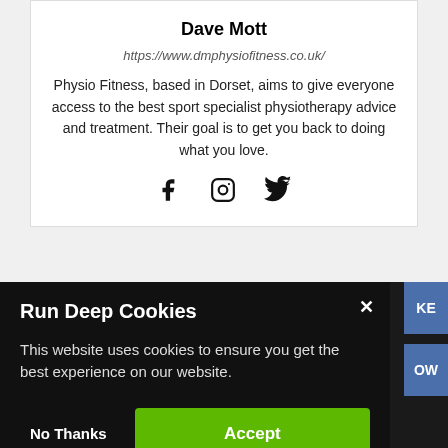Dave Mott
https://www.dmphysiofitness.co.uk/
Physio Fitness, based in Dorset, aims to give everyone access to the best sport specialist physiotherapy advice and treatment. Their goal is to get you back to doing what you love.
[Figure (infographic): Social media icons: Facebook, Instagram, Twitter]
[Figure (screenshot): Cookie consent modal with title 'Run Deep Cookies', body text about cookies, 'No Thanks' and 'Accept' buttons. Blue buttons partially visible on right edge labeled 'KE' and 'OW'.]